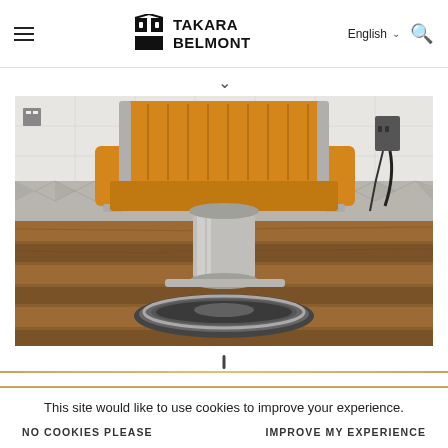Takara Belmont — English
[Figure (photo): Back view of a vintage yellow barber chair with chrome hydraulic base on a wooden floor, set in a barbershop with tiled walls]
This site would like to use cookies to improve your experience.
NO COOKIES PLEASE   IMPROVE MY EXPERIENCE